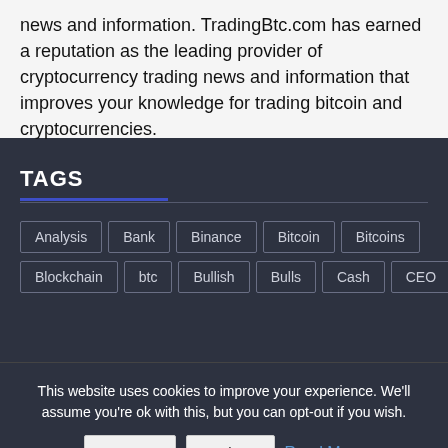news and information. TradingBtc.com has earned a reputation as the leading provider of cryptocurrency trading news and information that improves your knowledge for trading bitcoin and cryptocurrencies.
TAGS
Analysis | Bank | Binance | Bitcoin | Bitcoins | Blockchain | btc | Bullish | Bulls | Cash | CEO
This website uses cookies to improve your experience. We'll assume you're ok with this, but you can opt-out if you wish.
Accept  Reject  Read More